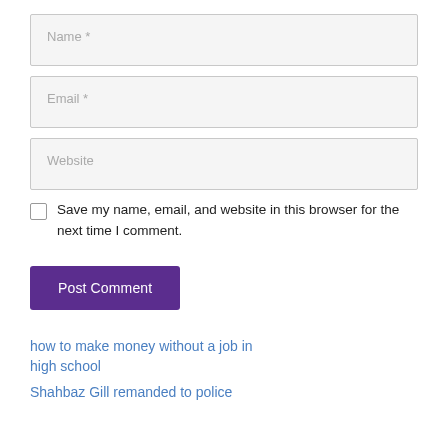[Figure (screenshot): Web form with Name, Email, Website input fields, a checkbox for saving info, a Post Comment button, and two links below.]
Name *
Email *
Website
Save my name, email, and website in this browser for the next time I comment.
Post Comment
how to make money without a job in high school
Shahbaz Gill remanded to police